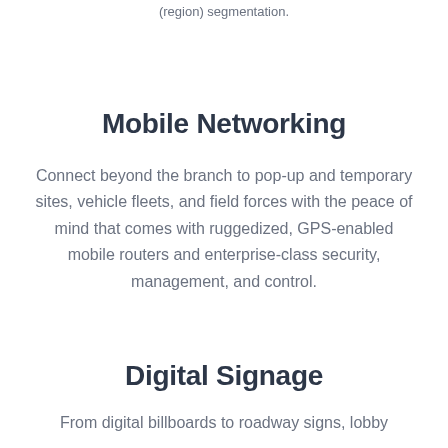(region) segmentation.
Mobile Networking
Connect beyond the branch to pop-up and temporary sites, vehicle fleets, and field forces with the peace of mind that comes with ruggedized, GPS-enabled mobile routers and enterprise-class security, management, and control.
Digital Signage
From digital billboards to roadway signs, lobby